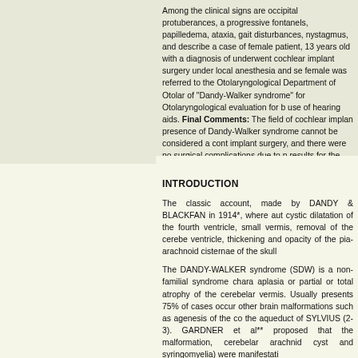Among the clinical signs are occipital protuberances, a progressive fontanels, papilledema, ataxia, gait disturbances, nystagmus, and describe a case of female patient, 13 years old with a diagnosis of underwent cochlear implant surgery under local anesthesia and se female was referred to the Otolaryngological Department of Otolar of "Dandy-Walker syndrome" for Otolaryngological evaluation for b use of hearing aids. Final Comments: The field of cochlear implan presence of Dandy-Walker syndrome cannot be considered a cont implant surgery, and there were no surgical complications due to n results for the patient who exhibits excellent discrimination. It has l speech quality.
INTRODUCTION
The classic account, made by DANDY & BLACKFAN in 1914*, where aut cystic dilatation of the fourth ventricle, small vermis, removal of the cerebe ventricle, thickening and opacity of the pia-arachnoid cisternae of the skull
The DANDY-WALKER syndrome (SDW) is a non-familial syndrome chara aplasia or partial or total atrophy of the cerebelar vermis. Usually presents 75% of cases occur other brain malformations such as agenesis of the co the aqueduct of SYLVIUS (2-3). GARDNER et al** proposed that the malformation, cerebelar arachnid cyst and syringomyelia) were manifestati
Some studies show an incidence of approximately 70% of relationship be is known about congenital malformations of the posterior pit structure chromosome 3q (4-5), but the gene is not located exactly, but it is kno structures of the pit later is nature for human cerebelar malformations (5). embryo in the period until the early post-natal, this event would cerebe development (6).
The pathogenesis of this syndrome is controversial, but the most accepte of MAGENDIE and LUSHKA during the fourth month of fetal life, leading proposed that the SDW result from a failure to develop the roof of the hi Some studies suggest that the use of warfarin in the long run would be